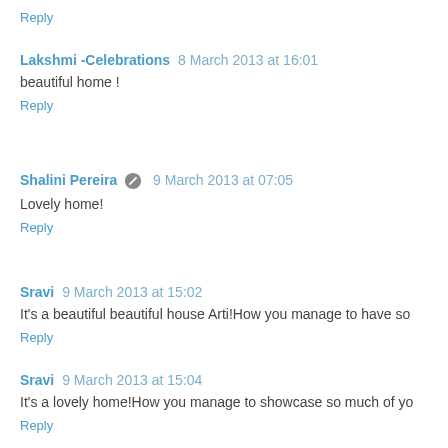Reply
Lakshmi -Celebrations  8 March 2013 at 16:01
beautiful home !
Reply
Shalini Pereira  9 March 2013 at 07:05
Lovely home!
Reply
Sravi  9 March 2013 at 15:02
It's a beautiful beautiful house Arti!How you manage to have so
Reply
Sravi  9 March 2013 at 15:04
It's a lovely home!How you manage to showcase so much of yo
Reply